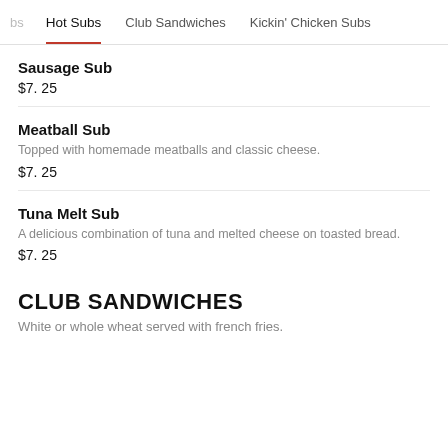bs  Hot Subs  Club Sandwiches  Kickin' Chicken Subs
Sausage Sub
$7. 25
Meatball Sub
Topped with homemade meatballs and classic cheese.
$7. 25
Tuna Melt Sub
A delicious combination of tuna and melted cheese on toasted bread.
$7. 25
CLUB SANDWICHES
White or whole wheat served with french fries.